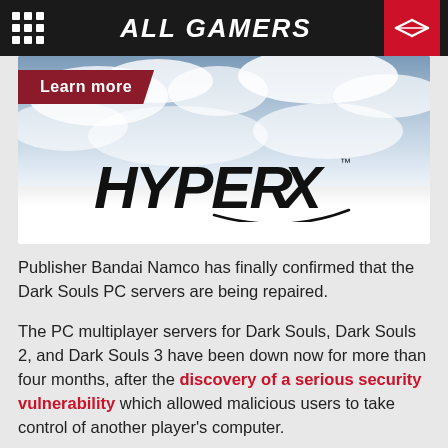ALL GAMERS
[Figure (logo): HyperX advertisement banner with a 'Learn more' button, cloudy sky background, and HyperX logo in black stylized text]
Publisher Bandai Namco has finally confirmed that the Dark Souls PC servers are being repaired.
The PC multiplayer servers for Dark Souls, Dark Souls 2, and Dark Souls 3 have been down now for more than four months, after the discovery of a serious security vulnerability which allowed malicious users to take control of another player's computer.